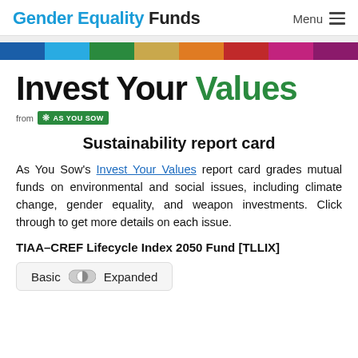Gender Equality Funds   Menu
[Figure (infographic): Horizontal color bar with 8 segments: dark blue, cyan, green, tan/gold, orange, dark red, magenta/pink, purple]
Invest Your Values from AS YOU SOW
Sustainability report card
As You Sow's Invest Your Values report card grades mutual funds on environmental and social issues, including climate change, gender equality, and weapon investments. Click through to get more details on each issue.
TIAA-CREF Lifecycle Index 2050 Fund [TLLIX]
[Figure (infographic): Toggle switch UI element with 'Basic' on left and 'Expanded' on right, with a half-circle toggle icon in the middle]